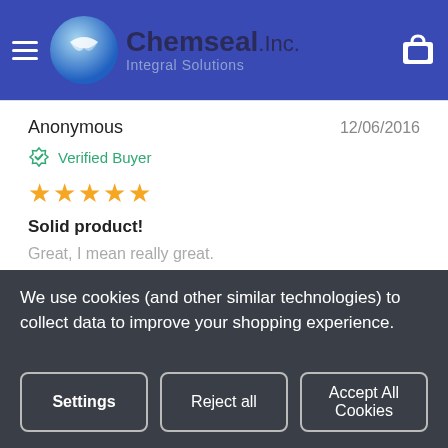[Figure (screenshot): Chemseal Inc. Integral Solutions website header with globe logo on blue background and shopping cart icon]
Anonymous   12/06/2016
Verified Buyer
★★★★★
Solid product!
Great, I mean really great.
👍 Helpful   👎 Not Helpful
Jesse P   11/30/2016
We use cookies (and other similar technologies) to collect data to improve your shopping experience.
Settings   Reject all   Accept All Cookies